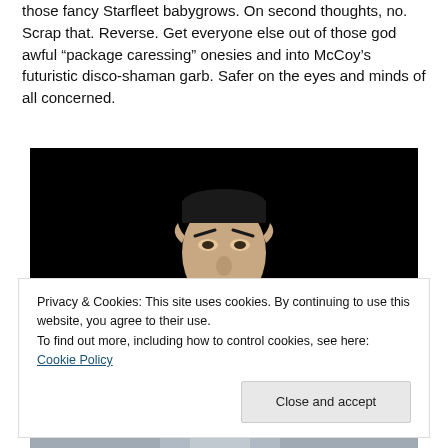those fancy Starfleet babygrows. On second thoughts, no. Scrap that. Reverse. Get everyone else out of those god awful “package caressing” onesies and into McCoy’s futuristic disco-shaman garb. Safer on the eyes and minds of all concerned.
[Figure (photo): Black and white photo of a man (resembling Mr. Spock from Star Trek) with dark hair and pointed features against a black background]
Privacy & Cookies: This site uses cookies. By continuing to use this website, you agree to their use.
To find out more, including how to control cookies, see here: Cookie Policy
Close and accept
[Figure (photo): Bottom portion of a photo showing a person in light-colored clothing]